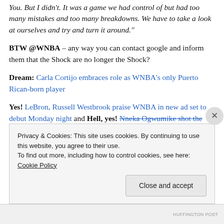You. But I didn't. It was a game we had control of but had too many mistakes and too many breakdowns. We have to take a look at ourselves and try and turn it around."
BTW @WNBA – any way you can contact google and inform them that the Shock are no longer the Shock?
Dream: Carla Cortijo embraces role as WNBA's only Puerto Rican-born player
Yes! LeBron, Russell Westbrook praise WNBA in new ad set to debut Monday night and Hell, yes! WNBA's Nneka Ogwumike shot the ball 20 times in a game and didn't
Privacy & Cookies: This site uses cookies. By continuing to use this website, you agree to their use.
To find out more, including how to control cookies, see here: Cookie Policy
Close and accept
HUFFINGTON POST